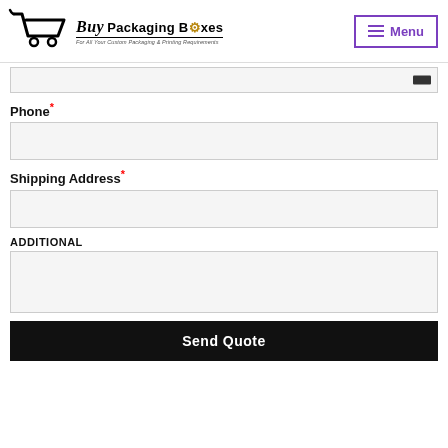[Figure (logo): Buy Packaging Boxes logo with shopping cart icon and text 'Packaging Boxes - For All Your Custom Packaging & Printing Requirements']
Menu
Phone *
Shipping Address *
ADDITIONAL
Send Quote